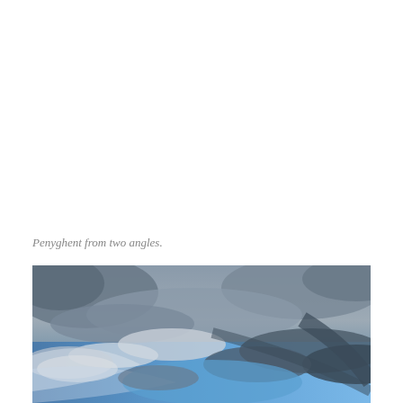Penyghent from two angles.
[Figure (photo): Photograph of a dramatic cloudy sky with blue patches visible through dark grey clouds, taken from below looking upward. The sky is stormy with layered clouds of grey and white, with vivid blue sky visible in the lower portion of the image.]